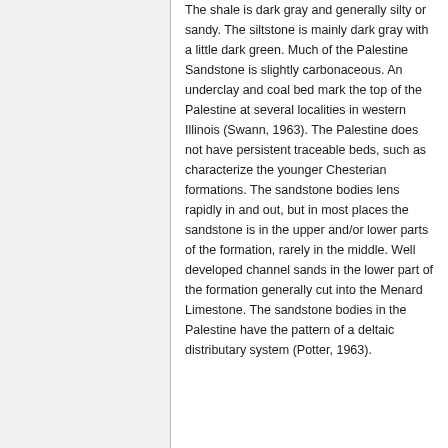The shale is dark gray and generally silty or sandy. The siltstone is mainly dark gray with a little dark green. Much of the Palestine Sandstone is slightly carbonaceous. An underclay and coal bed mark the top of the Palestine at several localities in western Illinois (Swann, 1963). The Palestine does not have persistent traceable beds, such as characterize the younger Chesterian formations. The sandstone bodies lens rapidly in and out, but in most places the sandstone is in the upper and/or lower parts of the formation, rarely in the middle. Well developed channel sands in the lower part of the formation generally cut into the Menard Limestone. The sandstone bodies in the Palestine have the pattern of a deltaic distributary system (Potter, 1963).